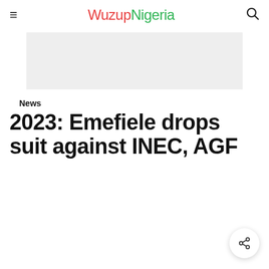≡ WuzupNigeria 🔍
[Figure (other): Grey advertisement banner placeholder]
News
2023: Emefiele drops suit against INEC, AGF